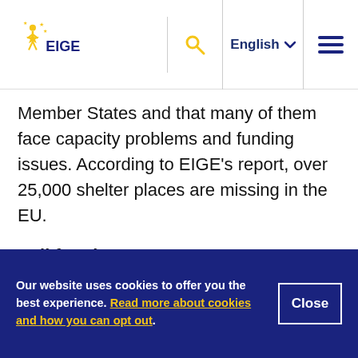[Figure (logo): EIGE logo with star and navigation bar including search icon, English language selector, and hamburger menu]
Member States and that many of them face capacity problems and funding issues. According to EIGE’s report, over 25,000 shelter places are missing in the EU.
Call for change
EU institutions are committed to making the EU free from violence for all. To achieve it, data collection on gender-based violence in Europe has
Our website uses cookies to offer you the best experience. Read more about cookies and how you can opt out.